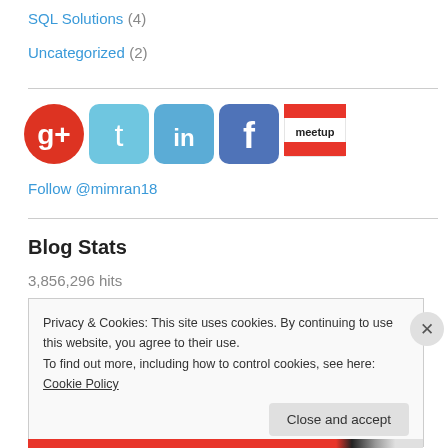SQL Solutions (4)
Uncategorized (2)
[Figure (illustration): Row of social media icons: Google+, Twitter, LinkedIn, Facebook, Meetup]
Follow @mimran18
Blog Stats
3,856,296 hits
Privacy & Cookies: This site uses cookies. By continuing to use this website, you agree to their use.
To find out more, including how to control cookies, see here: Cookie Policy
Close and accept